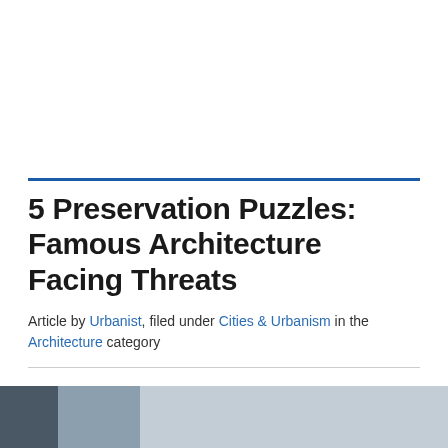5 Preservation Puzzles: Famous Architecture Facing Threats
Article by Urbanist, filed under Cities & Urbanism in the Architecture category
[Figure (photo): Partial view of a building or architectural structure, visible at the bottom of the page as an image strip]